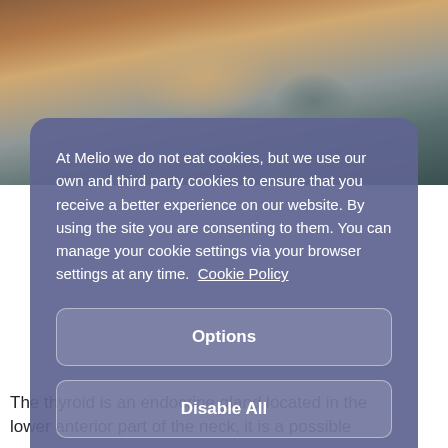[Figure (photo): A woman with tattoos on her arm, appearing emotional or in distress, with dark background.]
At Melio we do not eat cookies, but we use our own and third party cookies to ensure that you receive a better experience on our website. By using the site you are consenting to them. You can manage your cookie settings via your browser settings at any time. Cookie Policy
Options
Disable All
Allow All
The thyroid is an endocrine gland located in the lower anterior part of the neck, it is a possible...